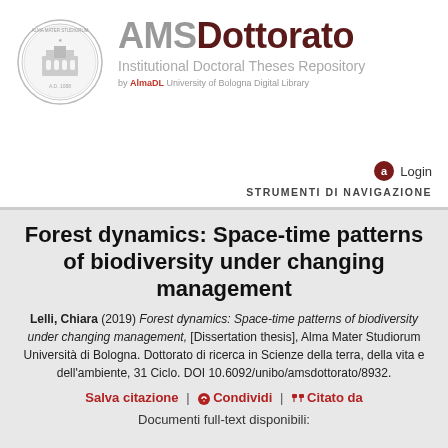[Figure (logo): University of Bologna circular seal/crest logo]
AMSDottorato Institutional Doctoral Theses Repository by AlmaDL University of Bologna Digital Library
Login
STRUMENTI DI NAVIGAZIONE
Forest dynamics: Space-time patterns of biodiversity under changing management
Lelli, Chiara (2019) Forest dynamics: Space-time patterns of biodiversity under changing management, [Dissertation thesis], Alma Mater Studiorum Università di Bologna. Dottorato di ricerca in Scienze della terra, della vita e dell'ambiente, 31 Ciclo. DOI 10.6092/unibo/amsdottorato/8932.
Salva citazione | Condividi | Citato da
Documenti full-text disponibili: